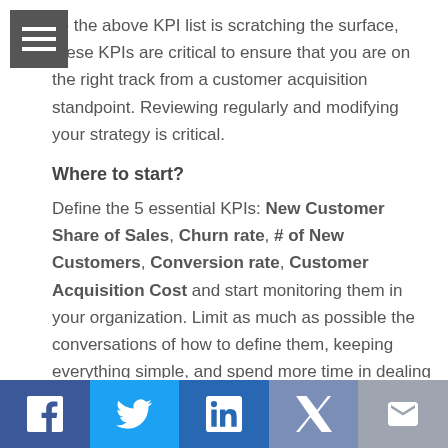ile the above KPI list is scratching the surface, these KPIs are critical to ensure that you are on the right track from a customer acquisition standpoint. Reviewing regularly and modifying your strategy is critical.
Where to start?
Define the 5 essential KPIs: New Customer Share of Sales, Churn rate, # of New Customers, Conversion rate, Customer Acquisition Cost and start monitoring them in your organization. Limit as much as possible the conversations of how to define them, keeping everything simple, and spend more time in dealing with the inefficiencies revealed when applying them.
Social share icons: Facebook, Twitter, LinkedIn, Yahoo, Email